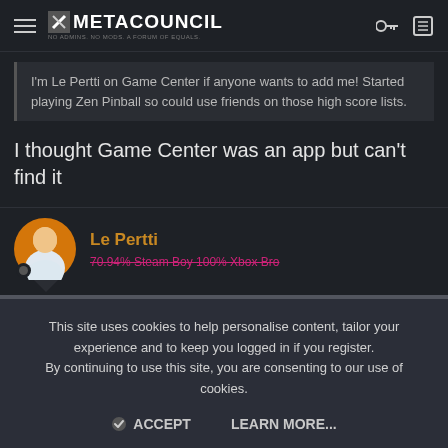METACOUNCIL — NO ADMINS. NO MODS. A FORUM OF EQUALS.
I'm Le Pertti on Game Center if anyone wants to add me! Started playing Zen Pinball so could use friends on those high score lists.
I thought Game Center was an app but can't find it
Le Pertti
70.94% Steam Boy 100% Xbox Bro
Sep 8, 2021
#6
This site uses cookies to help personalise content, tailor your experience and to keep you logged in if you register.
By continuing to use this site, you are consenting to our use of cookies.

ACCEPT    LEARN MORE...